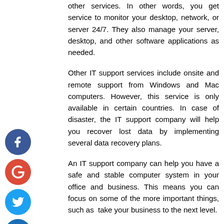other services. In other words, you get service to monitor your desktop, network, or server 24/7. They also manage your server, desktop, and other software applications as needed.
Other IT support services include onsite and remote support from Windows and Mac computers. However, this service is only available in certain countries. In case of disaster, the IT support company will help you recover lost data by implementing several data recovery plans.
An IT support company can help you have a safe and stable computer system in your office and business. This means you can focus on some of the more important things, such as take your business to the next level.
It is very difficult and almost impossible to build a good system yourself so you can always rely on IT